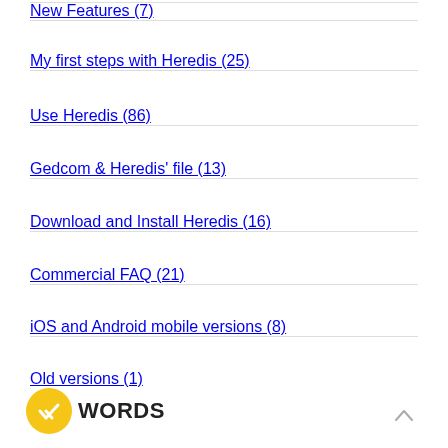New Features (7)
My first steps with Heredis (25)
Use Heredis (86)
Gedcom & Heredis' file (13)
Download and Install Heredis (16)
Commercial FAQ (21)
iOS and Android mobile versions (8)
Old versions (1)
KEYWORDS